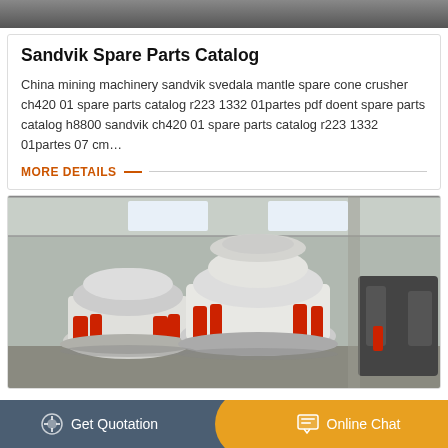[Figure (photo): Dark/gray industrial machinery top strip image]
Sandvik Spare Parts Catalog
China mining machinery sandvik svedala mantle spare cone crusher ch420 01 spare parts catalog r223 1332 01partes pdf doent spare parts catalog h8800 sandvik ch420 01 spare parts catalog r223 1332 01partes 07 cm…
MORE DETAILS
[Figure (photo): Industrial cone crushers in a factory warehouse setting, showing large white and red cone crusher machines]
Get Quotation
Online Chat